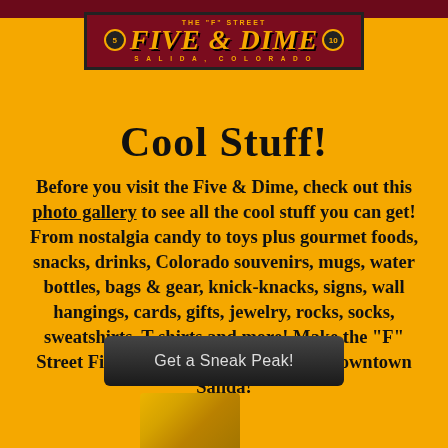[Figure (logo): The F Street Five & Dime logo — dark red background with gold text, coins marked 5 and 10, Salida Colorado]
Cool Stuff!
Before you visit the Five & Dime, check out this photo gallery to see all the cool stuff you can get! From nostalgia candy to toys plus gourmet foods, snacks, drinks, Colorado souvenirs, mugs, water bottles, bags & gear, knick-knacks, signs, wall hangings, cards, gifts, jewelry, rocks, socks, sweatshirts, T-shirts and more! Make the "F" Street Five & Dime your first stop in downtown Salida!
[Figure (other): A dark rounded button labeled 'Get a Sneak Peak!']